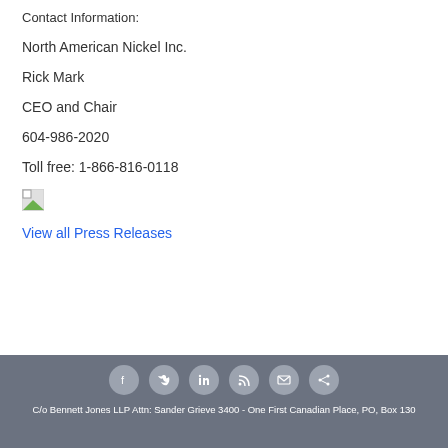Contact Information:
North American Nickel Inc.
Rick Mark
CEO and Chair
604-986-2020
Toll free: 1-866-816-0118
[Figure (photo): Broken image placeholder]
View all Press Releases
C/o Bennett Jones LLP Attn: Sander Grieve 3400 - One First Canadian Place, PO, Box 130